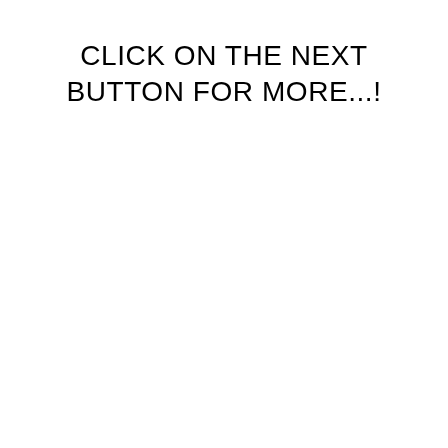CLICK ON THE NEXT BUTTON FOR MORE...!